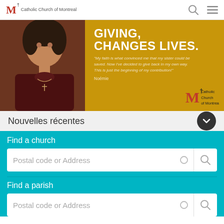Catholic Church of Montreal
[Figure (photo): Banner image showing a woman in a dark turtleneck with a cross necklace on a golden background. Text reads: GIVING, CHANGES LIVES. Quote: My faith is what convinced me that my sister could be saved. Now I've decided to give back in my own way. This is just the beginning of my contribution! - Noémie. Catholic Church of Montreal logo bottom right.]
Nouvelles récentes
Find a church
Postal code or Address
Find a parish
Postal code or Address